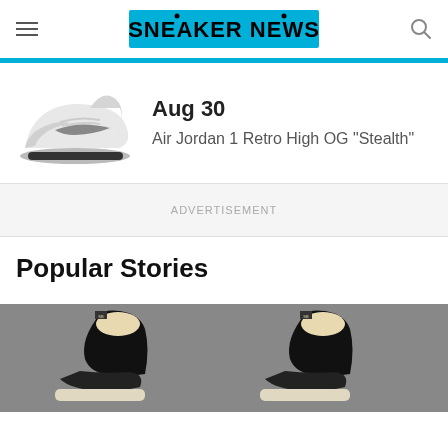SNEAKER NEWS
Aug 30
Air Jordan 1 Retro High OG "Stealth"
[Figure (photo): Air Jordan 1 Retro High OG Stealth sneaker, grey and white colorway, side profile view]
ADVERTISEMENT
Popular Stories
[Figure (photo): Two black and cream/white high-top sneakers (likely Air Jordan 1) photographed from above on a grey background]